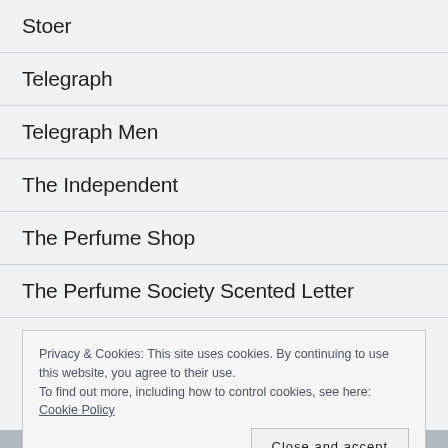Stoer
Telegraph
Telegraph Men
The Independent
The Perfume Shop
The Perfume Society Scented Letter
Thomas Clipper
Privacy & Cookies: This site uses cookies. By continuing to use this website, you agree to their use.
To find out more, including how to control cookies, see here: Cookie Policy
Close and accept